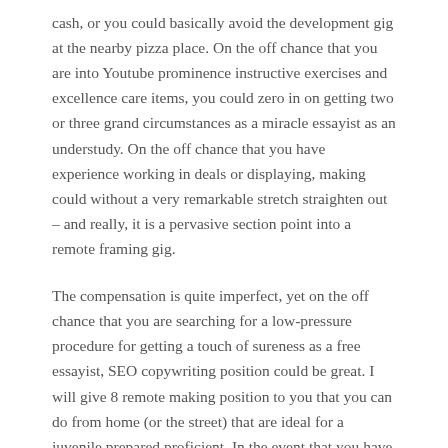cash, or you could basically avoid the development gig at the nearby pizza place. On the off chance that you are into Youtube prominence instructive exercises and excellence care items, you could zero in on getting two or three grand circumstances as a miracle essayist as an understudy. On the off chance that you have experience working in deals or displaying, making could without a very remarkable stretch straighten out – and really, it is a pervasive section point into a remote framing gig.
The compensation is quite imperfect, yet on the off chance that you are searching for a low-pressure procedure for getting a touch of sureness as a free essayist, SEO copywriting position could be great. I will give 8 remote making position to you that you can do from home (or the street) that are ideal for a juvenile prepared proficient. In the event that you have the mystery ingredient of a language major and a shudder for making, landing one of these exceptional making position telecommuting may very well be perfect for your way of life and plan. There is